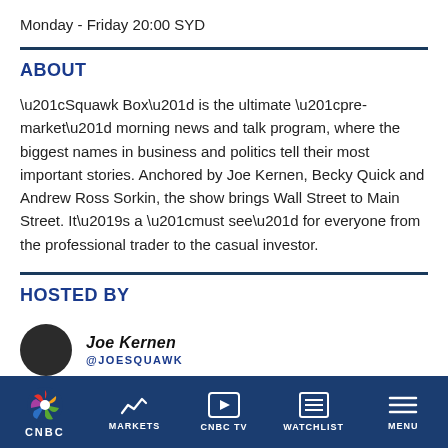Monday - Friday 20:00 SYD
ABOUT
“Squawk Box” is the ultimate “pre-market” morning news and talk program, where the biggest names in business and politics tell their most important stories. Anchored by Joe Kernen, Becky Quick and Andrew Ross Sorkin, the show brings Wall Street to Main Street. It’s a “must see” for everyone from the professional trader to the casual investor.
HOSTED BY
Joe Kernen
@JOESQUAWK
CNBC | MARKETS | CNBC TV | WATCHLIST | MENU